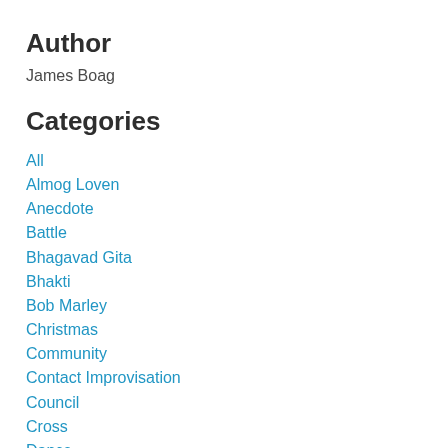Author
James Boag
Categories
All
Almog Loven
Anecdote
Battle
Bhagavad Gita
Bhakti
Bob Marley
Christmas
Community
Contact Improvisation
Council
Cross
Dance
Dark
Election